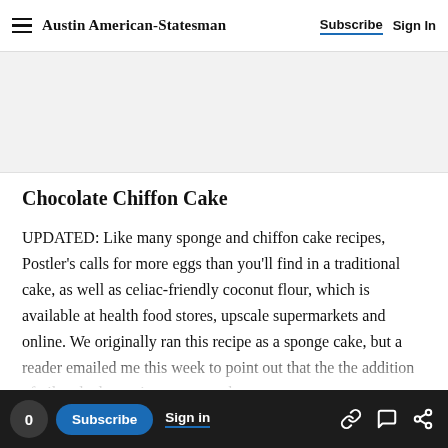Austin American-Statesman | Subscribe | Sign In
Chocolate Chiffon Cake
UPDATED: Like many sponge and chiffon cake recipes, Postler’s calls for more eggs than you’ll find in a traditional cake, as well as celiac-friendly coconut flour, which is available at health food stores, upscale supermarkets and online. We originally ran this recipe as a sponge cake, but a reader emailed me this week to point out that the the addition of oil and a leavening agent, such as
0 Subscribe Sign in